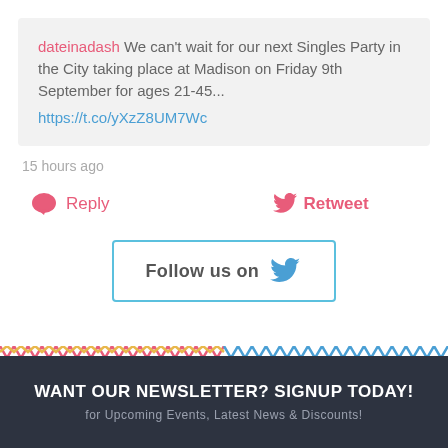dateinadash We can't wait for our next Singles Party in the City taking place at Madison on Friday 9th September for ages 21-45... https://t.co/yXzZ8UM7Wc
15 hours ago
Reply   Retweet
Follow us on
WANT OUR NEWSLETTER? SIGNUP TODAY!
for Upcoming Events, Latest News & Discounts!